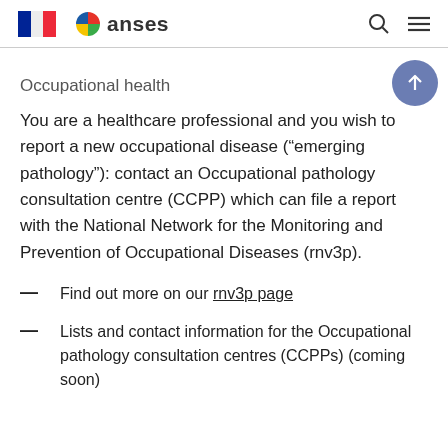[French Republic flag] anses [search] [menu]
Occupational health
You are a healthcare professional and you wish to report a new occupational disease (“emerging pathology”): contact an Occupational pathology consultation centre (CCPP) which can file a report with the National Network for the Monitoring and Prevention of Occupational Diseases (rnv3p).
Find out more on our rnv3p page
Lists and contact information for the Occupational pathology consultation centres (CCPPs) (coming soon)